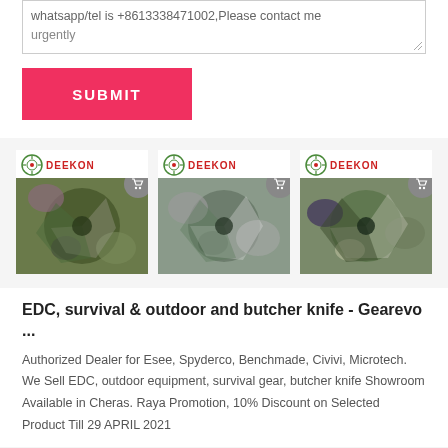whatsapp/tel is +8613338471002,Please contact me urgently
[Figure (screenshot): Red SUBMIT button on a white background]
[Figure (photo): Three DEEKON branded product cards showing camouflage fabric swirled into a pinwheel shape. Left: purple/green camo, Center: grey/green camo, Right: green/purple/beige camo.]
EDC, survival & outdoor and butcher knife - Gearevo ...
Authorized Dealer for Esee, Spyderco, Benchmade, Civivi, Microtech. We Sell EDC, outdoor equipment, survival gear, butcher knife Showroom Available in Cheras. Raya Promotion, 10% Discount on Selected Product Till 29 APRIL 2021
[Figure (photo): Three DEEKON branded product cards at the bottom of the page, partially visible. Center card shows a dark green cylindrical object.]